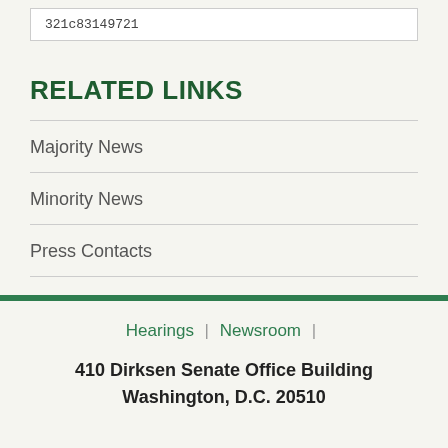321c83149721
RELATED LINKS
Majority News
Minority News
Press Contacts
Hearings | Newsroom | 410 Dirksen Senate Office Building Washington, D.C. 20510